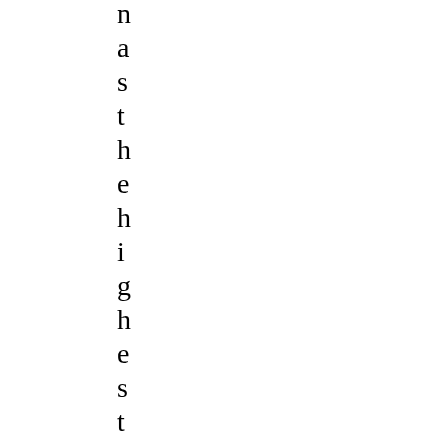n a s t h e h i g h e s t m a r